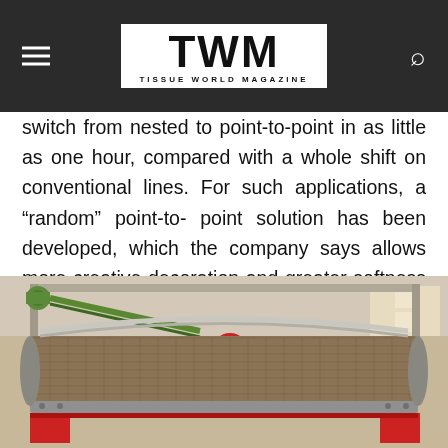TWM TISSUE WORLD MAGAZINE
switch from nested to point-to-point in as little as one hour, compared with a whole shift on conventional lines. For such applications, a “random” point-to- point solution has been developed, which the company says allows more creative decoration and greater softness than normal point- to-point allows due to the reduced glue requirement.
[Figure (photo): Industrial tissue manufacturing machine showing embossing rollers and mesh belt conveyor system in a factory setting.]